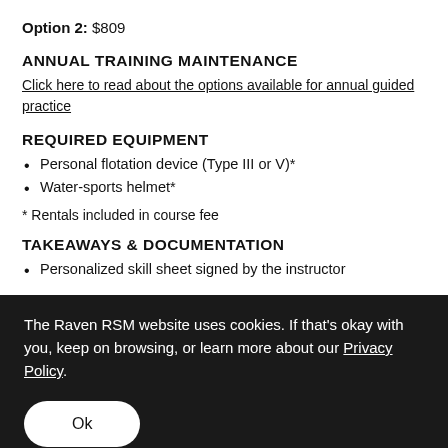Option 2: $809
ANNUAL TRAINING MAINTENANCE
Click here to read about the options available for annual guided practice
REQUIRED EQUIPMENT
Personal flotation device (Type III or V)*
Water-sports helmet*
* Rentals included in course fee
TAKEAWAYS & DOCUMENTATION
Personalized skill sheet signed by the instructor
The Raven RSM website uses cookies. If that's okay with you, keep on browsing, or learn more about our Privacy Policy.
Ok